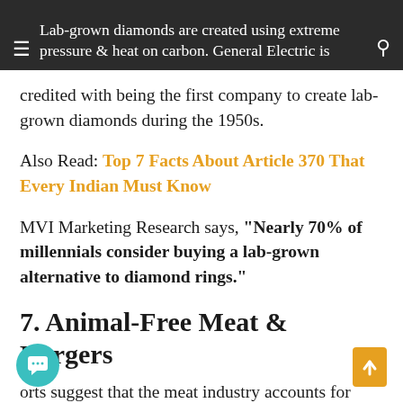Lab-grown diamonds are created using extreme pressure & heat on carbon. General Electric is
credited with being the first company to create lab-grown diamonds during the 1950s.
Also Read: Top 7 Facts About Article 370 That Every Indian Must Know
MVI Marketing Research says, “Nearly 70% of millennials consider buying a lab-grown alternative to diamond rings.”
7. Animal-Free Meat & Burgers
orts suggest that the meat industry accounts for 60% of greenhouse gas emissions from food